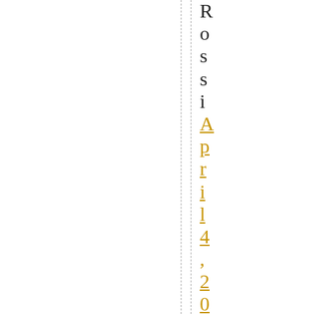Rossi April 4, 2017 at 2:34PM Peter
[Figure (other): Two vertical dashed lines running the full height of the page]